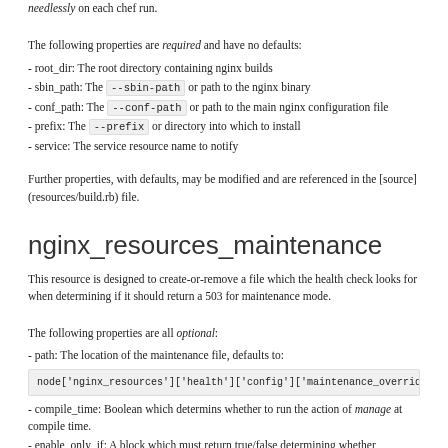needlessly on each chef run.
The following properties are required and have no defaults:
- root_dir: The root directory containing nginx builds
- sbin_path: The --sbin-path or path to the nginx binary
- conf_path: The --conf-path or path to the main nginx configuration file
- prefix: The --prefix or directory into which to install
- service: The service resource name to notify
Further properties, with defaults, may be modified and are referenced in the [source](resources/build.rb) file.
nginx_resources_maintenance
This resource is designed to create-or-remove a file which the health check looks for when determining if it should return a 503 for maintenance mode.
The following properties are all optional:
- path: The location of the maintenance file, defaults to:
node['nginx_resources']['health']['config']['maintenance_override']
- compile_time: Boolean which determins whether to run the action of manage at compile time.
- enable_only_if: A block which must return true/false determining whether